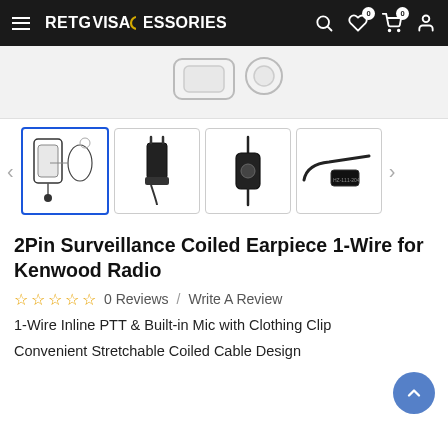RETGVIS ACCESSORIES – navigation header
[Figure (photo): Top portion of product main image (earpiece/accessories) partially visible]
[Figure (photo): Thumbnail 1 (active/selected): earpiece and acoustic tube, full earpiece kit]
[Figure (photo): Thumbnail 2: 2-pin connector/plug close-up]
[Figure (photo): Thumbnail 3: inline PTT button close-up]
[Figure (photo): Thumbnail 4: clothing clip/microphone clip close-up]
2Pin Surveillance Coiled Earpiece 1-Wire for Kenwood Radio
0 Reviews / Write A Review
1-Wire Inline PTT & Built-in Mic with Clothing Clip
Convenient Stretchable Coiled Cable Design